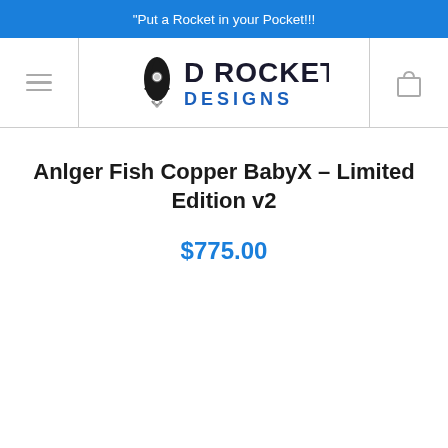"Put a Rocket in your Pocket!!!
[Figure (logo): D Rocket Designs logo with rocket icon and bold text]
Anlger Fish Copper BabyX – Limited Edition v2
$775.00